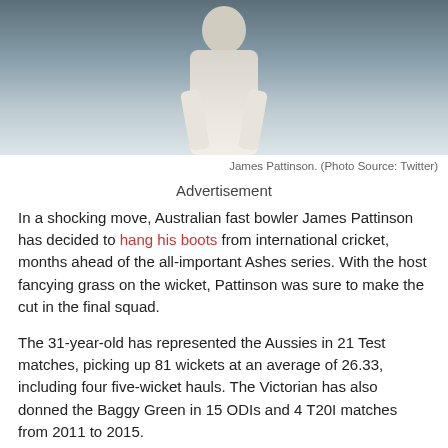[Figure (photo): James Pattinson, Australian fast bowler, wearing white cricket uniform]
James Pattinson. (Photo Source: Twitter)
Advertisement
In a shocking move, Australian fast bowler James Pattinson has decided to hang his boots from international cricket, months ahead of the all-important Ashes series. With the host fancying grass on the wicket, Pattinson was sure to make the cut in the final squad.
The 31-year-old has represented the Aussies in 21 Test matches, picking up 81 wickets at an average of 26.33, including four five-wicket hauls. The Victorian has also donned the Baggy Green in 15 ODIs and 4 T20I matches from 2011 to 2015.